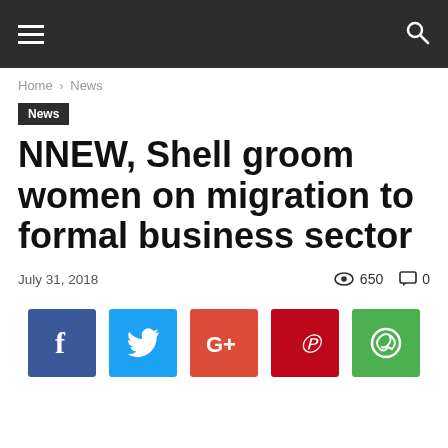Navigation bar with hamburger menu and search icon
Home › News
News
NNEW, Shell groom women on migration to formal business sector
July 31, 2018  👁 650  💬 0
[Figure (other): Social sharing buttons: Facebook, Twitter, Google+, Pinterest, WhatsApp]